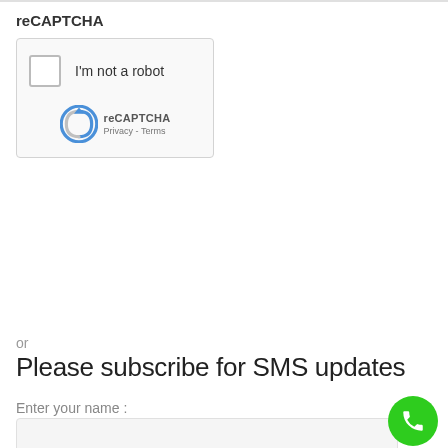reCAPTCHA
[Figure (screenshot): reCAPTCHA widget with checkbox 'I'm not a robot' and reCAPTCHA branding with Privacy and Terms links]
Submit
or
Please subscribe for SMS updates
Enter your name :
[Figure (other): Green phone/call FAB button in bottom right corner]